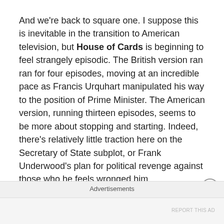And we're back to square one. I suppose this is inevitable in the transition to American television, but House of Cards is beginning to feel strangely episodic. The British version ran ran for four episodes, moving at an incredible pace as Francis Urquhart manipulated his way to the position of Prime Minister. The American version, running thirteen episodes, seems to be more about stopping and starting. Indeed, there's relatively little traction here on the Secretary of State subplot, or Frank Underwood's plan for political revenge against those who he feels wronged him.
Instead, this third episode feels like something of a breather episode, the kind of character-orientated piece
Advertisements